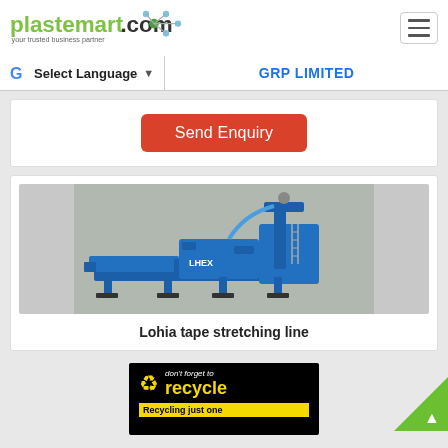plastemart.com – your trusted business partner
Select Language | GRP LIMITED
Send Enquiry
[Figure (photo): Industrial blue tape stretching line machine (Lohia brand)]
Lohia tape stretching line
[Figure (infographic): Recycling advertisement: don't forget to recycle – Recycling just one...]